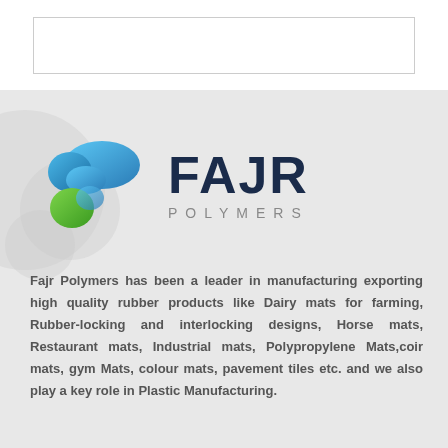[Figure (logo): Fajr Polymers logo with blue and green blob shapes on the left and FAJR in dark navy bold text with POLYMERS in grey spaced letters below]
Fajr Polymers has been a leader in manufacturing exporting high quality rubber products like Dairy mats for farming, Rubber-locking and interlocking designs, Horse mats, Restaurant mats, Industrial mats, Polypropylene Mats,coir mats, gym Mats, colour mats, pavement tiles etc. and we also play a key role in Plastic Manufacturing.